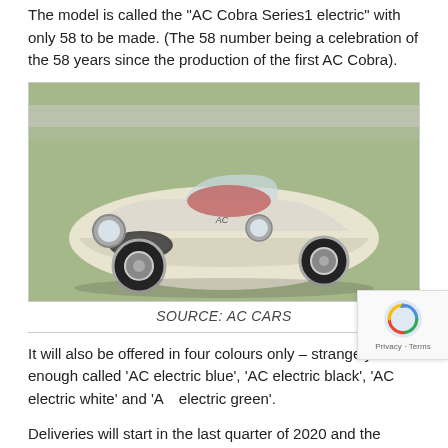The model is called the "AC Cobra Series1 electric" with only 58 to be made. (The 58 number being a celebration of the 58 years since the production of the first AC Cobra).
[Figure (photo): A classic white AC Cobra convertible sports car parked on grass with a road visible in the background.]
SOURCE: AC CARS
It will also be offered in four colours only – strangely enough called 'AC electric blue', 'AC electric black', 'AC electric white' and 'AC electric green'.
Deliveries will start in the last quarter of 2020 and the suggested